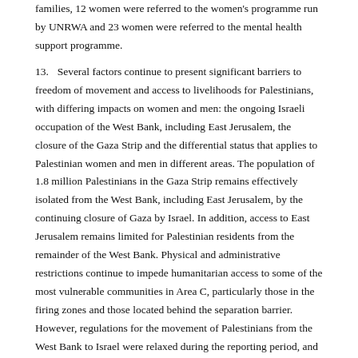families, 12 women were referred to the women's programme run by UNRWA and 23 women were referred to the mental health support programme.
13.  Several factors continue to present significant barriers to freedom of movement and access to livelihoods for Palestinians, with differing impacts on women and men: the ongoing Israeli occupation of the West Bank, including East Jerusalem, the closure of the Gaza Strip and the differential status that applies to Palestinian women and men in different areas. The population of 1.8 million Palestinians in the Gaza Strip remains effectively isolated from the West Bank, including East Jerusalem, by the continuing closure of Gaza by Israel. In addition, access to East Jerusalem remains limited for Palestinian residents from the remainder of the West Bank. Physical and administrative restrictions continue to impede humanitarian access to some of the most vulnerable communities in Area C, particularly those in the firing zones and those located behind the separation barrier. However, regulations for the movement of Palestinians from the West Bank to Israel were relaxed during the reporting period, and the number of permits issued for Palestinians employed in Israel reached 60,150.¹°
14.  According to data collected by UN Women and the Office for the